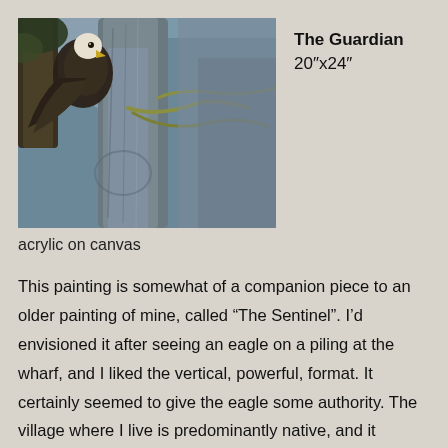[Figure (illustration): Painting of an eagle perched on rocky drift wood/piling with tree branches and blue-grey rocky background, acrylic on canvas artwork titled The Guardian]
The Guardian 20"x24"
acrylic on canvas
This painting is somewhat of a companion piece to an older painting of mine, called “The Sentinel”. I’d envisioned it after seeing an eagle on a piling at the wharf, and I liked the vertical, powerful, format. It certainly seemed to give the eagle some authority. The village where I live is predominantly native, and it